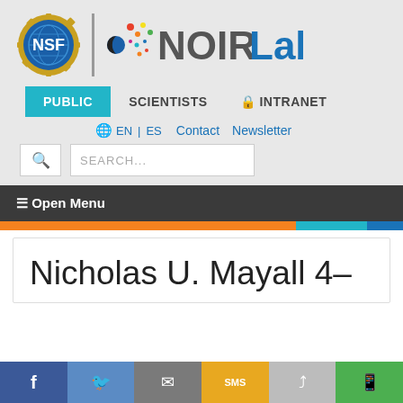[Figure (logo): NSF NOIRLab logo with NSF seal on left and NOIRLab text with colorful dot graphic on right]
PUBLIC | SCIENTISTS | INTRANET
EN | ES   Contact   Newsletter
SEARCH...
≡ Open Menu
Nicholas U. Mayall 4-